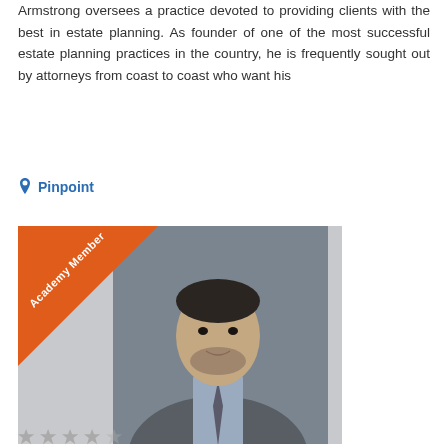Armstrong oversees a practice devoted to providing clients with the best in estate planning. As founder of one of the most successful estate planning practices in the country, he is frequently sought out by attorneys from coast to coast who want his
Pinpoint
[Figure (photo): Professional headshot of Alan L. Augulis wearing a suit and tie, with an 'Academy Member' orange ribbon banner in the top-left corner of the photo.]
Alan L. Augulis